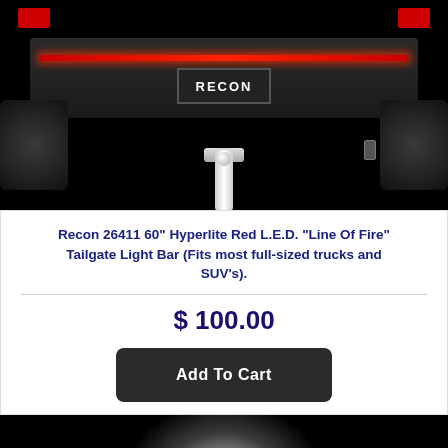[Figure (photo): Rear view of a black truck with a red LED light bar across the tailgate. The truck has a RECON license plate, chrome trailer hitch, and dark tires visible. The background is black.]
Recon 26411 60" Hyperlite Red L.E.D. "Line Of Fire" Tailgate Light Bar (Fits most full-sized trucks and SUV's).
$ 100.00
Add To Cart
[Figure (photo): Bottom portion of a product image with a white/gray glow light effect against black background, partial second product photo.]